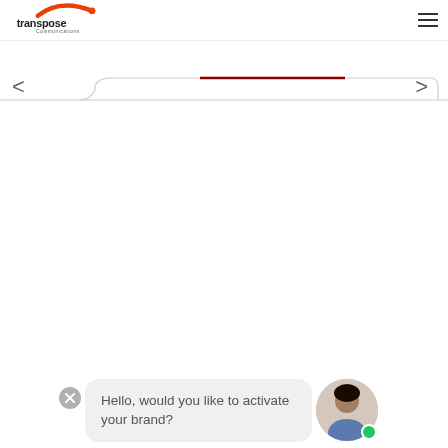[Figure (logo): Transpose Communications logo — orange arc/swoosh above black text 'transpose' with 'Communications' in smaller text below]
[Figure (screenshot): Navigation/carousel UI with a tab bar, left and right chevron arrows, and a large white content area]
Hello, would you like to activate your brand?